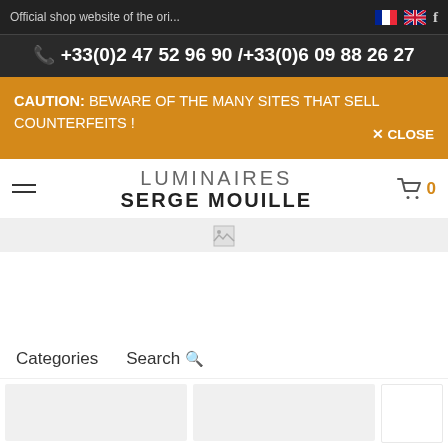Official shop website of the ori...
+33(0)2 47 52 96 90 /+33(0)6 09 88 26 27
CAUTION: BEWARE OF THE MANY SITES THAT SELL COUNTERFEITS !   ✕ CLOSE
LUMINAIRES SERGE MOUILLE
[Figure (screenshot): Broken image placeholder in grey strip]
Categories   Search
[Figure (photo): Product cards area at bottom of page]